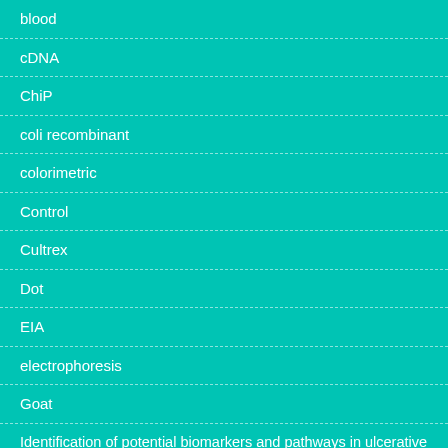blood
cDNA
ChiP
coli recombinant
colorimetric
Control
Cultrex
Dot
EIA
electrophoresis
Goat
Identification of potential biomarkers and pathways in ulcerative colitis with combined public mRNA and miRNA expression microarray data analysis.
My Blog